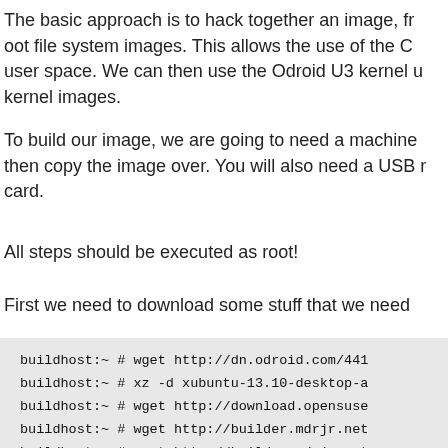The basic approach is to hack together an image, from root file system images. This allows the use of the C user space. We can then use the Odroid U3 kernel u kernel images.
To build our image, we are going to need a machine then copy the image over. You will also need a USB r card.
All steps should be executed as root!
First we need to download some stuff that we need
[Figure (screenshot): Terminal code block showing buildhost commands with wget and xz for downloading files from odroid.com, opensuse, and builder.mdrjr.net]